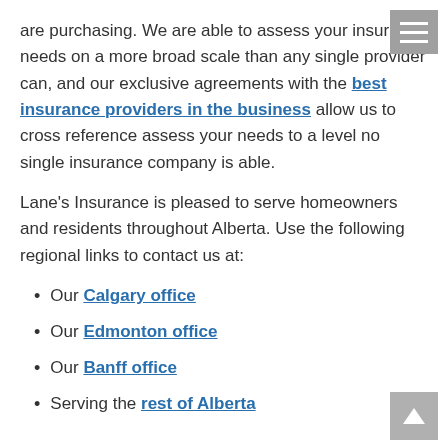are purchasing. We are able to assess your insurance needs on a more broad scale than any single provider can, and our exclusive agreements with the best insurance providers in the business allow us to cross reference assess your needs to a level no single insurance company is able.
Lane's Insurance is pleased to serve homeowners and residents throughout Alberta. Use the following regional links to contact us at:
Our Calgary office
Our Edmonton office
Our Banff office
Serving the rest of Alberta